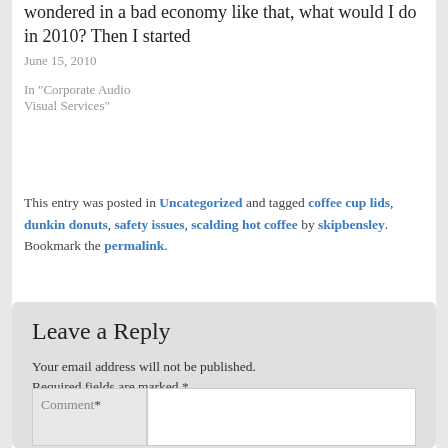In late 2009, I wondered in a bad economy like that, what would I do in 2010? Then I started
June 15, 2010
In "Corporate Audio Visual Services"
This entry was posted in Uncategorized and tagged coffee cup lids, dunkin donuts, safety issues, scalding hot coffee by skipbensley. Bookmark the permalink.
Leave a Reply
Your email address will not be published. Required fields are marked *
Comment *